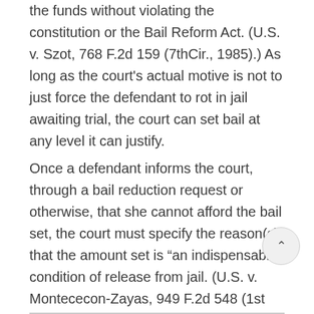the funds without violating the constitution or the Bail Reform Act. (U.S. v. Szot, 768 F.2d 159 (7thCir., 1985).) As long as the court's actual motive is not to just force the defendant to rot in jail awaiting trial, the court can set bail at any level it can justify.
Once a defendant informs the court, through a bail reduction request or otherwise, that she cannot afford the bail set, the court must specify the reason(s) that the amount set is "an indispensable" condition of release from jail. (U.S. v. Montececon-Zayas, 949 F.2d 548 (1st Cir. 1991).) The court must set out its rationale in writing. (Fed. Rule of App. Proced. 9.)